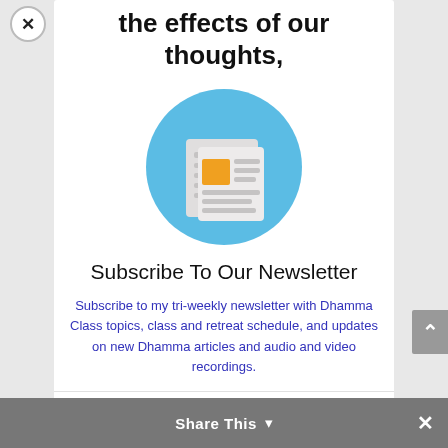completely understand all of the effects of our thoughts,
[Figure (illustration): Newsletter icon: a newspaper icon (folded paper with text lines and an orange square) centered on a light blue circle]
Subscribe To Our Newsletter
Subscribe to my tri-weekly newsletter with Dhamma Class topics, class and retreat schedule, and updates on new Dhamma articles and audio and video recordings.
Please join our classes in-person or live-
Share This